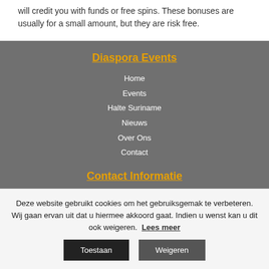will credit you with funds or free spins. These bonuses are usually for a small amount, but they are risk free.
Diaspora Events
Home
Events
Halte Suriname
Nieuws
Over Ons
Contact
Contact Informatie
Deze website gebruikt cookies om het gebruiksgemak te verbeteren. Wij gaan ervan uit dat u hiermee akkoord gaat. Indien u wenst kan u dit ook weigeren.
Lees meer
Toestaan
Weigeren